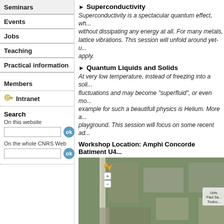Seminars
Events
Jobs
Teaching
Practical information
Members
🔑 Intranet
Search
On this website
On the whole CNRS Web
▶ Superconductivity
Superconductivity is a spectacular quantum effect, wh... without dissipating any energy at all. For many metals, lattice vibrations. This session will unfold around yet-u... apply.
▶ Quantum Liquids and Solids
At very low temperature, instead of freezing into a soli... fluctuations and may become "superfluid", or even mo... example for such a beautifull physics is Helium. More a... playground. This session will focus on some recent ad...
Workshop Location: Amphi Concorde Batiment U4...
[Figure (map): Satellite/aerial map showing the location of Metro Université Paul Sabatier with a red route line marked on it.]